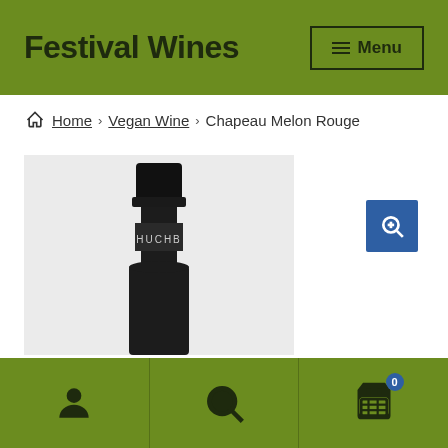Festival Wines
Home › Vegan Wine › Chapeau Melon Rouge
[Figure (photo): Close-up of the neck and top of a dark wine bottle with black capsule and label reading 'HUCHB' (Huchbe or similar), set against a light grey background.]
User icon | Search icon | Cart icon (0)